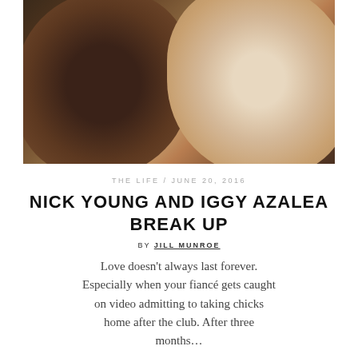[Figure (photo): Close-up photo of a couple — a man and a woman kissing/nuzzling, the woman is blonde]
THE LIFE / JUNE 20, 2016
NICK YOUNG AND IGGY AZALEA BREAK UP
BY JILL MUNROE
Love doesn't always last forever. Especially when your fiancé gets caught on video admitting to taking chicks home after the club. After three months...
READ MORE